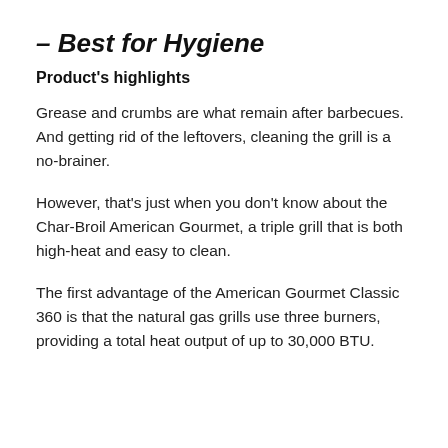– Best for Hygiene
Product's highlights
Grease and crumbs are what remain after barbecues. And getting rid of the leftovers, cleaning the grill is a no-brainer.
However, that's just when you don't know about the Char-Broil American Gourmet, a triple grill that is both high-heat and easy to clean.
The first advantage of the American Gourmet Classic 360 is that the natural gas grills use three burners, providing a total heat output of up to 30,000 BTU.